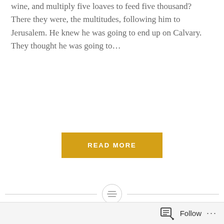wine, and multiply five loaves to feed five thousand? There they were, the multitudes, following him to Jerusalem. He knew he was going to end up on Calvary. They thought he was going to…
READ MORE
[Figure (other): Horizontal divider with a centered circle containing a text/menu icon (three horizontal lines)]
The Gifts of Ignatius – Jojo Magadia, SJ
This was Fr Jojo's homily from last year so the readings are
Follow ···